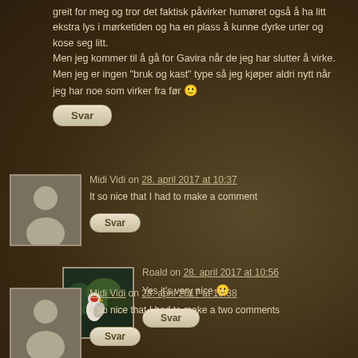greit for meg og tror det faktisk påvirker humøret også å ha litt ekstra lys i mørketiden og ha en plass å kunne dyrke urter og kose seg litt.
Men jeg kommer til å gå for Gavira når de jeg har slutter å virke. Men jeg er ingen "bruk og kast" type så jeg kjøper aldri nytt når jeg har noe som virker fra før 🙂
Svar
Midi Vidi on 28. april 2017 at 10:37
It so nice that I had to make a comment
Svar
Roald on 28. april 2017 at 10:56
Yes it's very nice 🙂
Svar
Midi Vidi on 28. april 2017 at 10:38
It so nice that I had to make a two comments
Svar